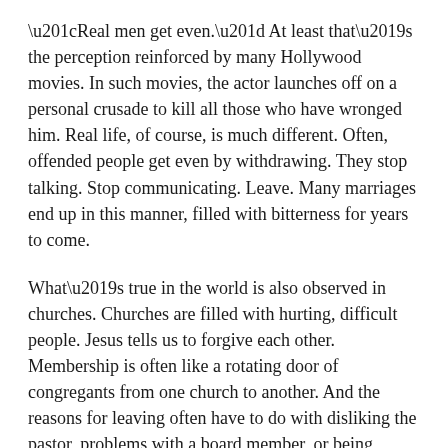“Real men get even.” At least that’s the perception reinforced by many Hollywood movies. In such movies, the actor launches off on a personal crusade to kill all those who have wronged him. Real life, of course, is much different. Often, offended people get even by withdrawing. They stop talking. Stop communicating. Leave. Many marriages end up in this manner, filled with bitterness for years to come.
What’s true in the world is also observed in churches. Churches are filled with hurting, difficult people. Jesus tells us to forgive each other. Membership is often like a rotating door of congregants from one church to another. And the reasons for leaving often have to do with disliking the pastor, problems with a board member, or being overlooked to lead a program. So people leave, hoping the problems won’t appear in the next church.
Jesus tells us not to be bitter and resent others. The way forward is through forgiveness. This doesn’t mean ignoring problems, but it does mean that whether or not others make godly responses to our appeals or confrontations, we still need